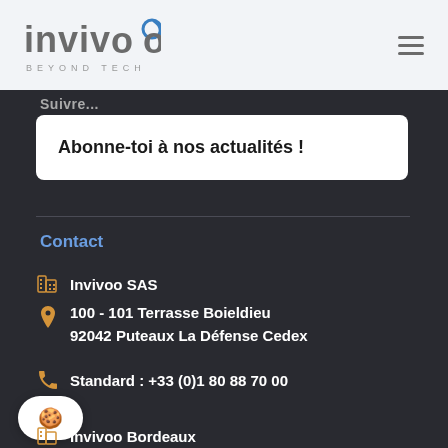INVIVOO BEYOND TECH
Abonne-toi à nos actualités !
Contact
Invivoo SAS
100 - 101 Terrasse Boieldieu
92042 Puteaux La Défense Cedex
Standard : +33 (0)1 80 88 70 00
Invivoo Bordeaux